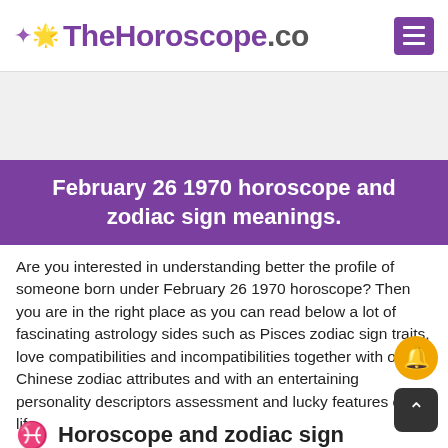TheHoroscope.co
February 26 1970 horoscope and zodiac sign meanings.
Are you interested in understanding better the profile of someone born under February 26 1970 horoscope? Then you are in the right place as you can read below a lot of fascinating astrology sides such as Pisces zodiac sign traits, love compatibilities and incompatibilities together with other Chinese zodiac attributes and with an entertaining personality descriptors assessment and lucky features of in life.
Horoscope and zodiac sign